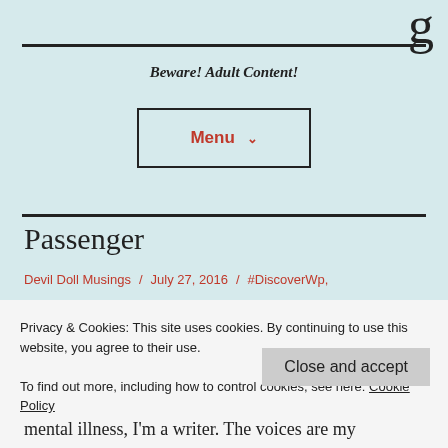g
Beware! Adult Content!
Menu ˅
Passenger
Devil Doll Musings / July 27, 2016 / #DiscoverWp,
Privacy & Cookies: This site uses cookies. By continuing to use this website, you agree to their use.
To find out more, including how to control cookies, see here: Cookie Policy
Close and accept
mental illness, I'm a writer. The voices are my